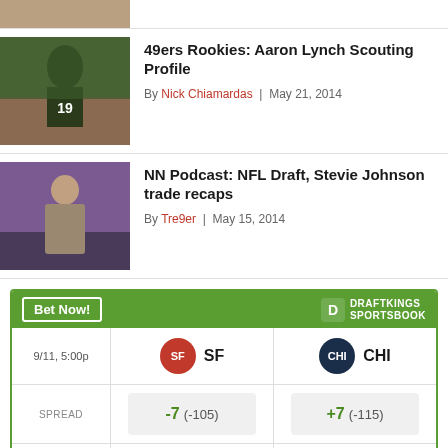[Figure (photo): Partial view of a football player at top of page (cropped)]
[Figure (photo): Football player wearing jersey number 19 in green uniform]
49ers Rookies: Aaron Lynch Scouting Profile
By Nick Chiamardas | May 21, 2014
[Figure (photo): Person in sport coat standing in front of purple background (NFL Draft)]
NN Podcast: NFL Draft, Stevie Johnson trade recaps
By Tre9er | May 15, 2014
|  | SF | CHI |
| --- | --- | --- |
| SPREAD | -7 (-105) | +7 (-115) |
| MONEY | -295 | +245 |